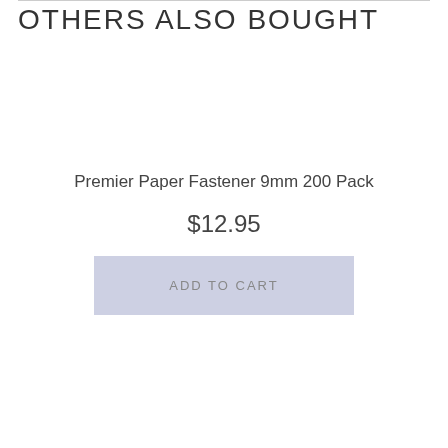OTHERS ALSO BOUGHT
Premier Paper Fastener 9mm 200 Pack
$12.95
ADD TO CART